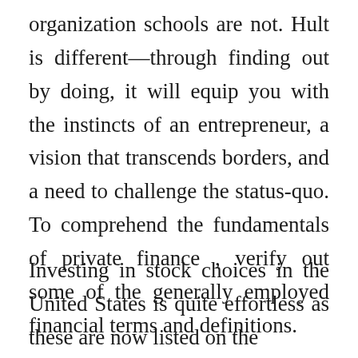organization schools are not. Hult is different—through finding out by doing, it will equip you with the instincts of an entrepreneur, a vision that transcends borders, and a need to challenge the status-quo. To comprehend the fundamentals of private finance , verify out some of the generally employed financial terms and definitions.
Investing in stock choices in the United States is quite effortless as these are now listed on the